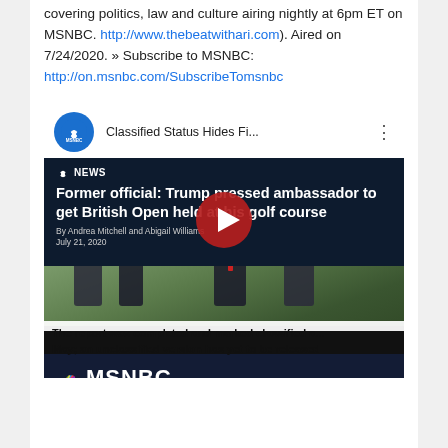covering politics, law and culture airing nightly at 6pm ET on MSNBC. http://www.thebeatwithari.com). Aired on 7/24/2020. » Subscribe to MSNBC: http://on.msnbc.com/SubscribeTomsnbc
[Figure (screenshot): YouTube video thumbnail for MSNBC video titled 'Classified Status Hides Fi...' showing an NBC News article headline 'Former official: Trump pressed ambassador to get British Open held at his golf course' by Andrea Mitchell and Abigail Williams, with a red play button overlay on a photo of people in suits walking, and lower-third ticker text 'The report was completed and marked classified a... May; an unclassified version has yet to be released' with MSNBC logo bar.]